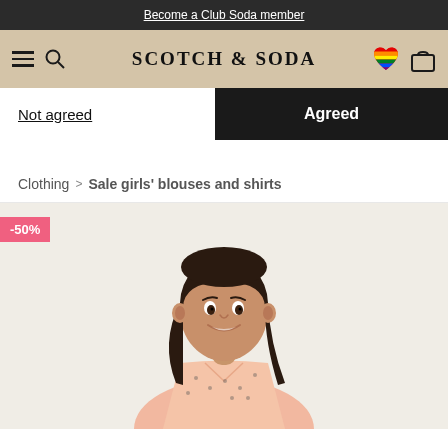Become a Club Soda member
[Figure (screenshot): Scotch & Soda navigation header with hamburger menu, search icon, logo, heart (rainbow) icon, and shopping bag icon on a tan/beige background]
Not agreed
Agreed
Clothing > Sale girls' blouses and shirts
[Figure (photo): Young girl smiling, wearing a peach/pink short-sleeve collared shirt with illustrated figure print, against a light beige background. A -50% sale badge is shown in the upper left corner.]